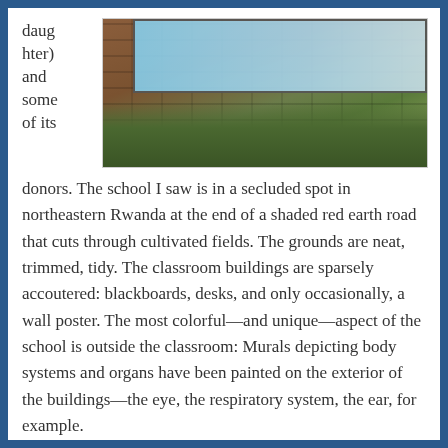daughter) and some of its
[Figure (photo): Exterior wall of a school building in northeastern Rwanda showing a colorful mural painted on brick, with lush green plants and shrubs growing in front of the building. The mural appears to depict biological/anatomical subjects on a blue background.]
donors. The school I saw is in a secluded spot in northeastern Rwanda at the end of a shaded red earth road that cuts through cultivated fields. The grounds are neat, trimmed, tidy. The classroom buildings are sparsely accoutered: blackboards, desks, and only occasionally, a wall poster. The most colorful—and unique—aspect of the school is outside the classroom: Murals depicting body systems and organs have been painted on the exterior of the buildings—the eye, the respiratory system, the ear, for example.